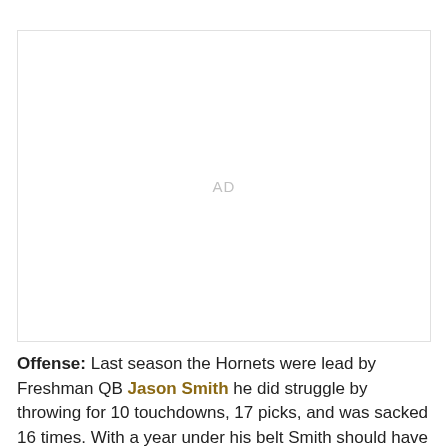[Figure (other): Advertisement placeholder box with 'AD' text centered inside a light gray bordered rectangle]
Offense: Last season the Hornets were lead by Freshman QB Jason Smith he did struggle by throwing for 10 touchdowns, 17 picks, and was sacked 16 times. With a year under his belt Smith should have more production, and the running game should help out as well. With Bryan Hilliard and Travon Jones